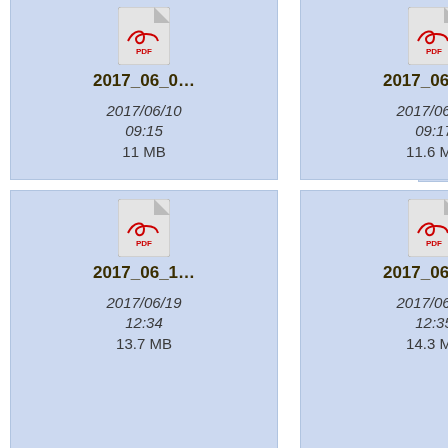[Figure (screenshot): Grid of PDF file thumbnails showing filenames, dates, times, and file sizes. Partial view showing 2 full columns and one partial column, 3 rows.]
2017_06_0...
2017/06/10
09:15
11 MB
2017_06_0...
2017/06/10
09:17
11.6 MB
2017_06_1...
2017/06/19
12:34
13.7 MB
2017_06_1...
2017/06/19
12:35
14.3 MB